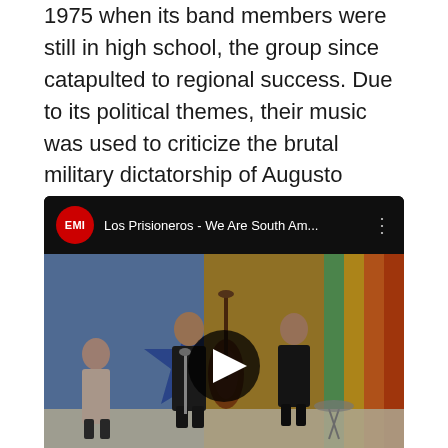1975 when its band members were still in high school, the group since catapulted to regional success. Due to its political themes, their music was used to criticize the brutal military dictatorship of Augusto Pinochet and other repressive regimes and societal norms.
[Figure (screenshot): YouTube video thumbnail showing Los Prisioneros - We Are South Am... with EMI logo, three band members performing on a colorful stage set with a large upright bass, play button overlay.]